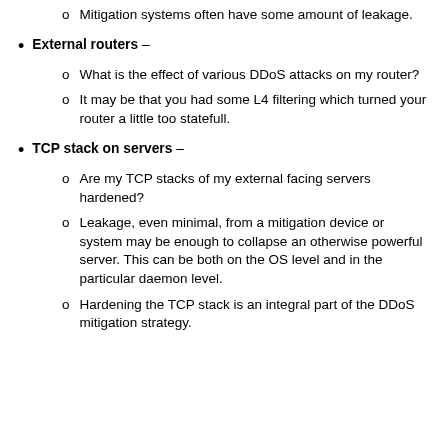Mitigation systems often have some amount of leakage.
External routers –
o   What is the effect of various DDoS attacks on my router?
o   It may be that you had some L4 filtering which turned your router a little too statefull.
TCP stack on servers –
o   Are my TCP stacks of my external facing servers hardened?
o   Leakage, even minimal, from a mitigation device or system may be enough to collapse an otherwise powerful server. This can be both on the OS level and in the particular daemon level.
o   Hardening the TCP stack is an integral part of the DDoS mitigation strategy.